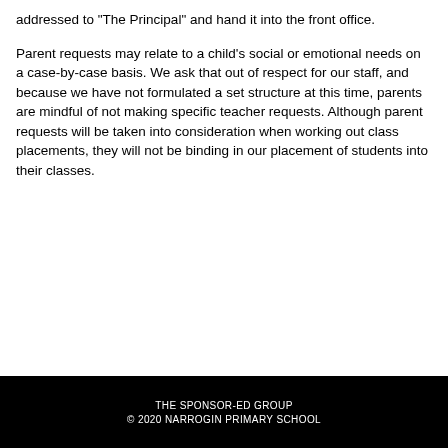addressed to "The Principal" and hand it into the front office.
Parent requests may relate to a child's social or emotional needs on a case-by-case basis. We ask that out of respect for our staff, and because we have not formulated a set structure at this time, parents are mindful of not making specific teacher requests. Although parent requests will be taken into consideration when working out class placements, they will not be binding in our placement of students into their classes.
THE SPONSOR-ED GROUP
© 2020 NARROGIN PRIMARY SCHOOL